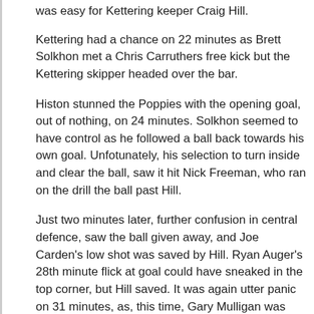was easy for Kettering keeper Craig Hill.
Kettering had a chance on 22 minutes as Brett Solkhon met a Chris Carruthers free kick but the Kettering skipper headed over the bar.
Histon stunned the Poppies with the opening goal, out of nothing, on 24 minutes. Solkhon seemed to have control as he followed a ball back towards his own goal. Unfotunately, his selection to turn inside and clear the ball, saw it hit Nick Freeman, who ran on the drill the ball past Hill.
Just two minutes later, further confusion in central defence, saw the ball given away, and Joe Carden's low shot was saved by Hill. Ryan Auger's 28th minute flick at goal could have sneaked in the top corner, but Hill saved. It was again utter panic on 31 minutes, as, this time, Gary Mulligan was guilty of losing the ball. Auger, in on goal, had a great chance to double the lead but Hill made a good save.
The Poppies gradually got back some composure in the last 10 minutes of the half. Spencer Weir-Daley got clear on goal in the 37th minute and with all the goal to aim at - shot straight at Gerrar. Carvalho's 43rd minute cross from